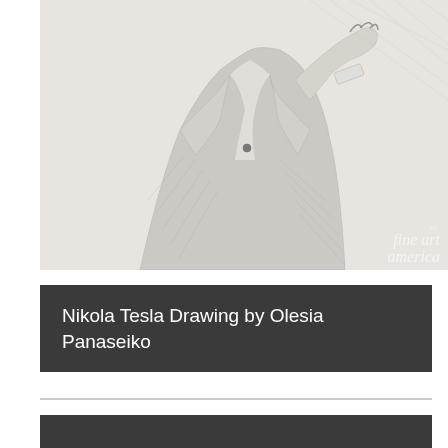[Figure (illustration): Pencil sketch portrait drawing of Nikola Tesla, showing him from the torso up, hand raised near his chin in a thoughtful pose, wearing a suit. Fine Art America watermark in lower right corner.]
Nikola Tesla Drawing by Olesia Panaseiko